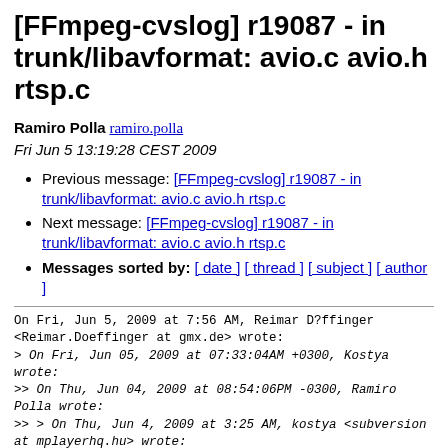[FFmpeg-cvslog] r19087 - in trunk/libavformat: avio.c avio.h rtsp.c
Ramiro Polla ramiro.polla
Fri Jun 5 13:19:28 CEST 2009
Previous message: [FFmpeg-cvslog] r19087 - in trunk/libavformat: avio.c avio.h rtsp.c
Next message: [FFmpeg-cvslog] r19087 - in trunk/libavformat: avio.c avio.h rtsp.c
Messages sorted by: [ date ] [ thread ] [ subject ] [ author ]
On Fri, Jun 5, 2009 at 7:56 AM, Reimar D?ffinger
<Reimar.Doeffinger at gmx.de> wrote:
> On Fri, Jun 05, 2009 at 07:33:04AM +0300, Kostya wrote:
>> On Thu, Jun 04, 2009 at 08:54:06PM -0300, Ramiro Polla wrote:
>> > On Thu, Jun 4, 2009 at 3:25 AM, kostya <subversion at mplayerhq.hu> wrote:
>> > > Author: kostya